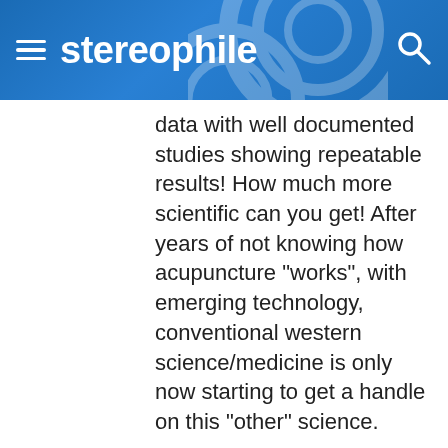stereophile
data with well documented studies showing repeatable results! How much more scientific can you get! After years of not knowing how acupuncture "works", with emerging technology, conventional western science/medicine is only now starting to get a handle on this "other" science.
Here's a list of what acupuncture works on- http://www.chononfor...